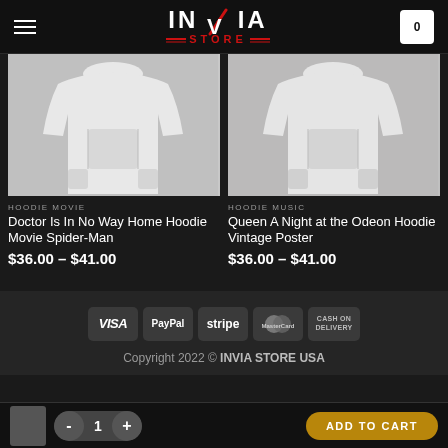[Figure (logo): INVIA STORE logo with red checkmark and red decorative lines around STORE text]
[Figure (photo): White hoodie product image - Doctor Strange Spider-Man movie hoodie]
HOODIE MOVIE
Doctor Is In No Way Home Hoodie Movie Spider-Man
$36.00 – $41.00
[Figure (photo): White hoodie product image - Queen A Night at the Odeon vintage poster hoodie]
HOODIE MUSIC
Queen A Night at the Odeon Hoodie Vintage Poster
$36.00 – $41.00
[Figure (infographic): Payment method badges: VISA, PayPal, stripe, MasterCard, CASH ON DELIVERY]
Copyright 2022 © INVIA STORE USA